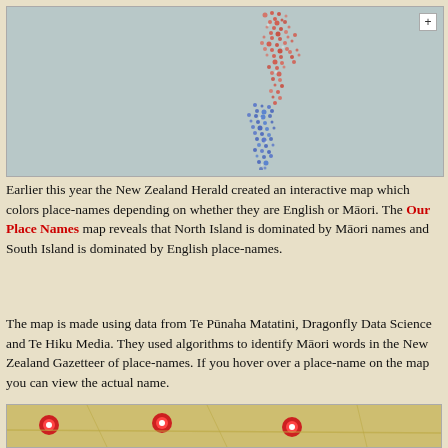[Figure (map): Interactive map of New Zealand showing place-names colored red (Māori) in North Island and blue (English) in South Island, on a grey background. A '+' zoom button is visible in the top right corner.]
Earlier this year the New Zealand Herald created an interactive map which colors place-names depending on whether they are English or Māori. The Our Place Names map reveals that North Island is dominated by Māori names and South Island is dominated by English place-names.
The map is made using data from Te Pūnaha Matatini, Dragonfly Data Science and Te Hiku Media. They used algorithms to identify Māori words in the New Zealand Gazetteer of place-names. If you hover over a place-name on the map you can view the actual name.
[Figure (map): Bottom portion of another interactive map showing colored map pins on a tan/yellow map background.]